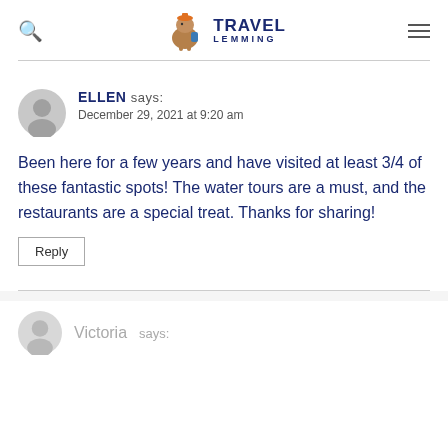Travel Lemming
ELLEN says: December 29, 2021 at 9:20 am
Been here for a few years and have visited at least 3/4 of these fantastic spots! The water tours are a must, and the restaurants are a special treat. Thanks for sharing!
Reply
Victoria says: